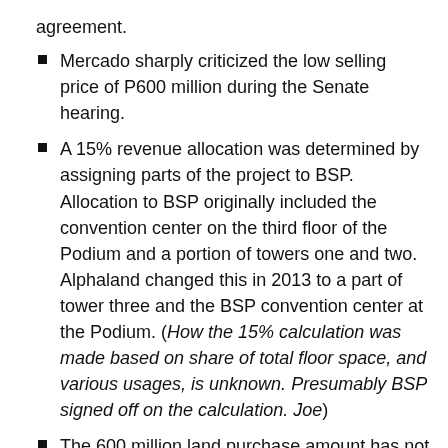agreement.
Mercado sharply criticized the low selling price of P600 million during the Senate hearing.
A 15% revenue allocation was determined by assigning parts of the project to BSP. Allocation to BSP originally included the convention center on the third floor of the Podium and a portion of towers one and two. Alphaland changed this in 2013 to a part of tower three and the BSP convention center at the Podium. (How the 15% calculation was made based on share of total floor space, and various usages, is unknown. Presumably BSP signed off on the calculation. Joe)
The 600 million land purchase amount has not yet been paid to BSP as the project is not yet complete, and it ostensibly represents BSP's share of